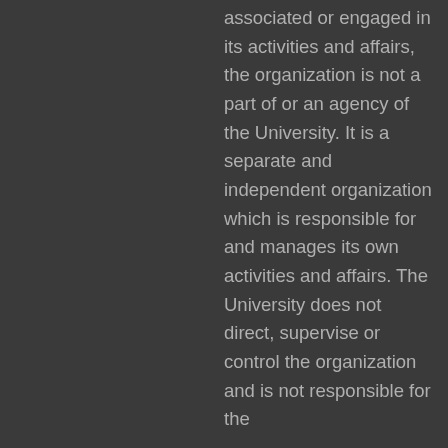associated or engaged in its activities and affairs, the organization is not a part of or an agency of the University. It is a separate and independent organization which is responsible for and manages its own activities and affairs. The University does not direct, supervise or control the organization and is not responsible for the